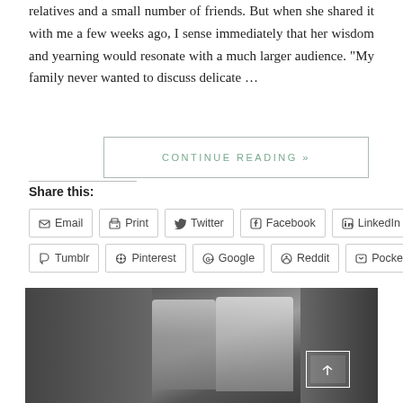relatives and a small number of friends. But when she shared it with me a few weeks ago, I sense immediately that her wisdom and yearning would resonate with a much larger audience. “My family never wanted to discuss delicate …
CONTINUE READING »
Share this:
Email
Print
Twitter
Facebook
LinkedIn
Tumblr
Pinterest
Google
Reddit
Pocket
[Figure (photo): Black and white photograph of two men standing together and smiling, indoors with framed artwork and plants visible in the background.]